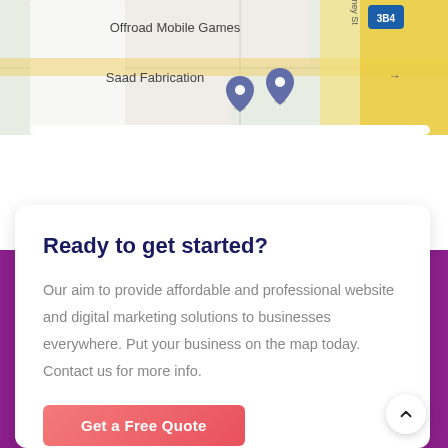[Figure (map): Google Maps screenshot showing location pins for 'Offroad Mobile Games' and 'Saad Fabrication', with road 384 visible, yellow/tan road lines on light grey map background]
Ready to get started?
Our aim to provide affordable and professional website and digital marketing solutions to businesses everywhere. Put your business on the map today. Contact us for more info.
Get a Free Quote